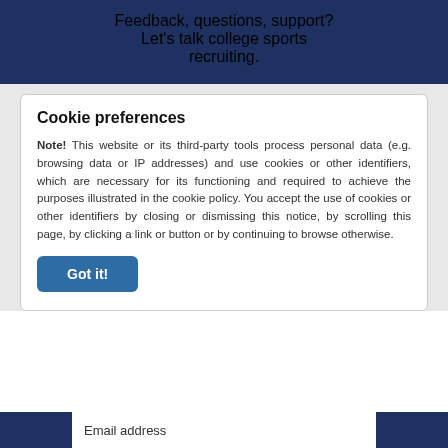Feedback, questions, support?
Let's talk college sports recruiting.
Cookie preferences
Note! This website or its third-party tools process personal data (e.g. browsing data or IP addresses) and use cookies or other identifiers, which are necessary for its functioning and required to achieve the purposes illustrated in the cookie policy. You accept the use of cookies or other identifiers by closing or dismissing this notice, by scrolling this page, by clicking a link or button or by continuing to browse otherwise.
Got it!
Email address